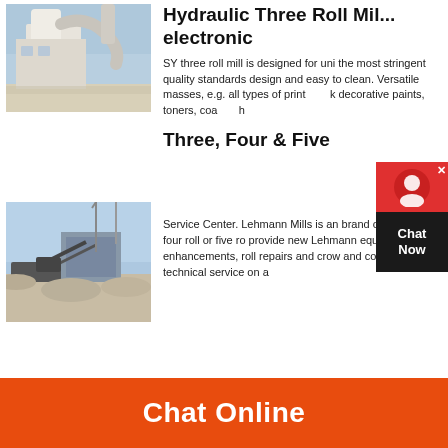Hydraulic Three Roll Mill electronic
[Figure (photo): Industrial mill equipment with large white cylindrical structure and ductwork outdoors]
SY three roll mill is designed for uni the most stringent quality standards design and easy to clean. Versatile masses, e.g. all types of print k decorative paints, toners, coa h
Three, Four & Five
[Figure (photo): Outdoor industrial site with machinery, conveyor belts, and gravel piles under blue sky]
Service Center. Lehmann Mills is an brand of three roll, four roll or five ro provide new Lehmann equipment, c enhancements, roll repairs and crow and complete technical service on a
Chat Online